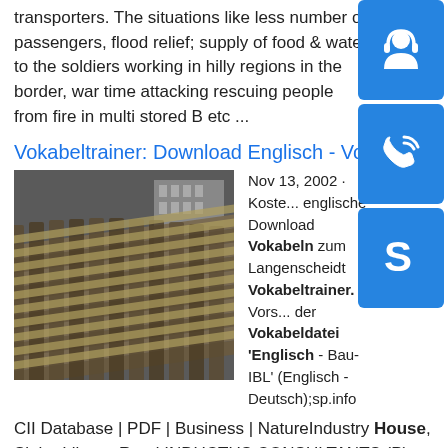transporters. The situations like less number of passengers, flood relief; supply of food & water to the soldiers working in hilly regions in the border, war time attacking rescuing people from fire in multi stored B etc ...
Vokabeltrainer: Download Englisch - Vok...
[Figure (photo): Stack of metal bars or rails (steel/iron material), photographed outdoors]
Nov 13, 2002 · Koste... englische Download Vokabeln zum Langenscheidt Vokabeltrainer. Vors... der Vokabeldatei 'Englisch - Bau-IBL' (Englisch - Deutsch);sp.info CII Database | PDF | Business | NatureIndustry House, Sinha Library Road INDUCTUS CONSULTANTS (P) LTD 311 N P Centre, New Dakbunglow Road DUZTCON EQUIPMENTS & SYSTEMS PVT B 4&5, Hira Arcade, New Bus Stand,
[Figure (illustration): Blue headset/support icon button]
[Figure (illustration): Blue phone icon button]
[Figure (illustration): Blue Skype icon button]